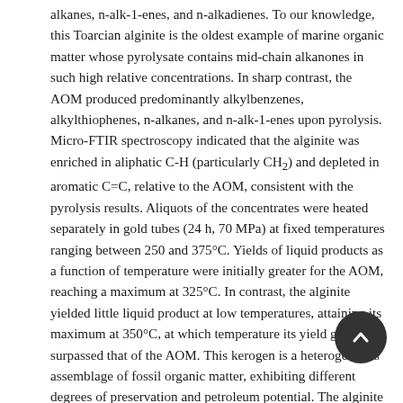alkanes, n-alk-1-enes, and n-alkadienes. To our knowledge, this Toarcian alginite is the oldest example of marine organic matter whose pyrolysate contains mid-chain alkanones in such high relative concentrations. In sharp contrast, the AOM produced predominantly alkylbenzenes, alkylthiophenes, n-alkanes, and n-alk-1-enes upon pyrolysis. Micro-FTIR spectroscopy indicated that the alginite was enriched in aliphatic C-H (particularly CH₂) and depleted in aromatic C=C, relative to the AOM, consistent with the pyrolysis results. Aliquots of the concentrates were heated separately in gold tubes (24 h, 70 MPa) at fixed temperatures ranging between 250 and 375°C. Yields of liquid products as a function of temperature were initially greater for the AOM, reaching a maximum at 325°C. In contrast, the alginite yielded little liquid product at low temperatures, attaining its maximum at 350°C, at which temperature its yield greatly surpassed that of the AOM. This kerogen is a heterogeneous assemblage of fossil organic matter, exhibiting different degrees of preservation and petroleum potential. The alginite is fossilized marine algaenans with alkyl chains cross-linked by ether bridges, while the AOM component is at least in part a "geopolymer" with thioether linkages, the thermally labile nature of which is responsible for its lower temperature peak liquid generation. It is evident that the alginite concentrate is chemically